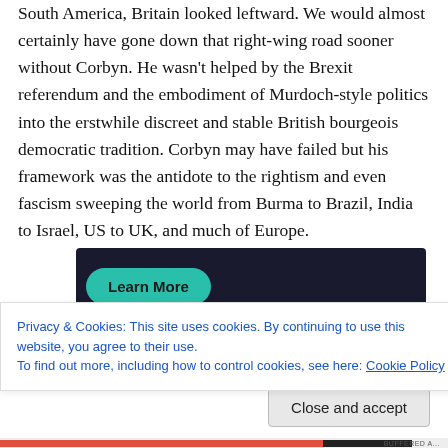South America, Britain looked leftward. We would almost certainly have gone down that right-wing road sooner without Corbyn. He wasn't helped by the Brexit referendum and the embodiment of Murdoch-style politics into the erstwhile discreet and stable British bourgeois democratic tradition. Corbyn may have failed but his framework was the antidote to the rightism and even fascism sweeping the world from Burma to Brazil, India to Israel, US to UK, and much of Europe.
[Figure (screenshot): Dark banner advertisement with a teal 'Learn More' button]
Privacy & Cookies: This site uses cookies. By continuing to use this website, you agree to their use.
To find out more, including how to control cookies, see here: Cookie Policy
Close and accept